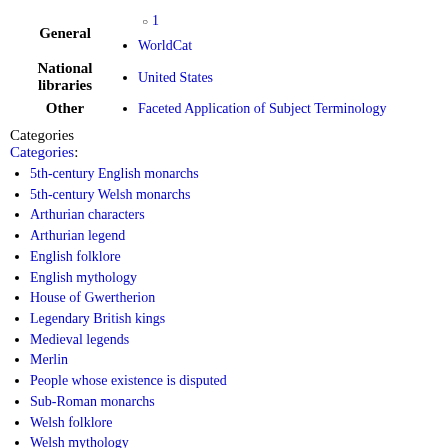General — 1, WorldCat
National libraries — United States
Other — Faceted Application of Subject Terminology
Categories
Categories:
5th-century English monarchs
5th-century Welsh monarchs
Arthurian characters
Arthurian legend
English folklore
English mythology
House of Gwertherion
Legendary British kings
Medieval legends
Merlin
People whose existence is disputed
Sub-Roman monarchs
Welsh folklore
Welsh mythology